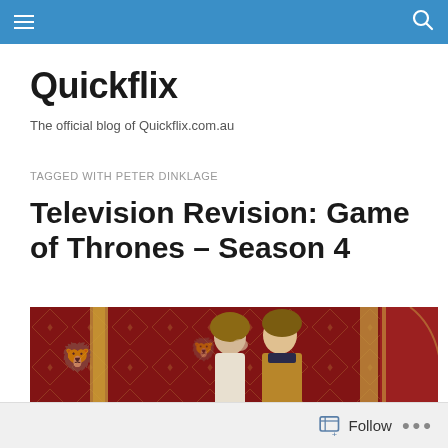Quickflix blog navigation bar
Quickflix
The official blog of Quickflix.com.au
TAGGED WITH PETER DINKLAGE
Television Revision: Game of Thrones – Season 4
[Figure (photo): Scene from Game of Thrones Season 4 showing two characters in front of ornate red and gold Lannister-themed wall tapestries]
Follow ...